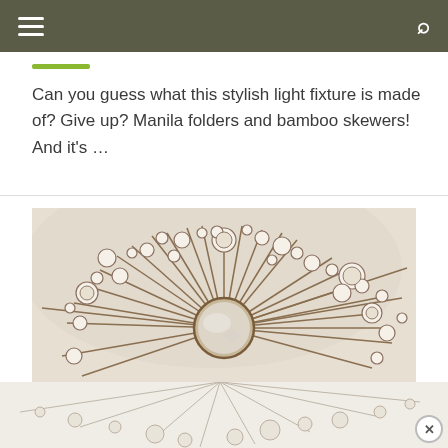Can you guess what this stylish light fixture is made of? Give up? Manila folders and bamboo skewers! And it's ...
[Figure (photo): A decorative sunburst wall mirror/light fixture made of Manila folders and bamboo skewers, showing circular discs radiating outward from a central mirror in a starburst pattern, mounted on a beige/cream wall.]
[Figure (photo): Bottom advertisement/continuation image showing the lower portion of the same sunburst fixture with circular disc details, partially cut off at the bottom of the page with a close (X) button.]